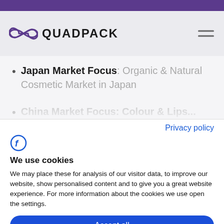[Figure (logo): Quadpack logo with infinity-style double loop icon and the text QUADPACK in bold dark letters]
Japan Market Focus: Organic & Natural Cosmetic Market in Japan
Privacy policy
[Figure (logo): Funkia/cookie consent provider logo — stylized letter F in blue circle outline]
We use cookies
We may place these for analysis of our visitor data, to improve our website, show personalised content and to give you a great website experience. For more information about the cookies we use open the settings.
Accept all
Deny
No, adjust